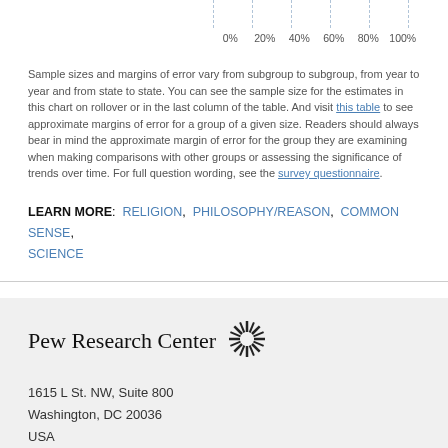[Figure (other): Top portion of a horizontal bar chart showing axis labels: 0%, 20%, 40%, 60%, 80%, 100%]
Sample sizes and margins of error vary from subgroup to subgroup, from year to year and from state to state. You can see the sample size for the estimates in this chart on rollover or in the last column of the table. And visit this table to see approximate margins of error for a group of a given size. Readers should always bear in mind the approximate margin of error for the group they are examining when making comparisons with other groups or assessing the significance of trends over time. For full question wording, see the survey questionnaire.
LEARN MORE: RELIGION, PHILOSOPHY/REASON, COMMON SENSE, SCIENCE
Pew Research Center
1615 L St. NW, Suite 800
Washington, DC 20036
USA